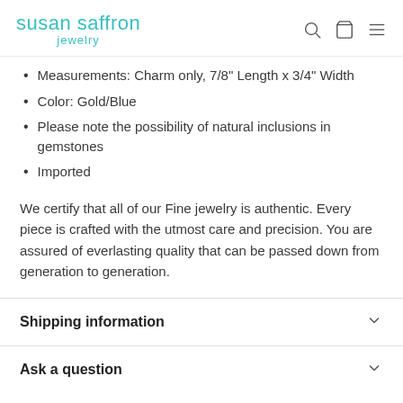susan saffron jewelry
Measurements: Charm only, 7/8" Length x 3/4" Width
Color: Gold/Blue
Please note the possibility of natural inclusions in gemstones
Imported
We certify that all of our Fine jewelry is authentic. Every piece is crafted with the utmost care and precision. You are assured of everlasting quality that can be passed down from generation to generation.
Shipping information
Ask a question